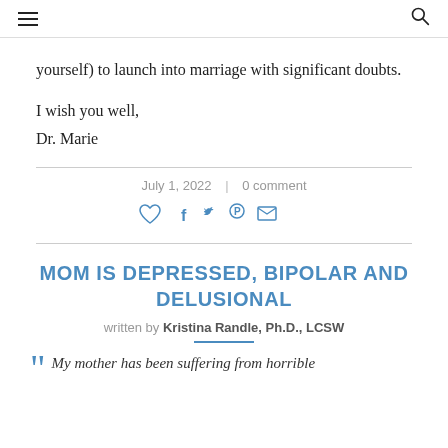yourself) to launch into marriage with significant doubts.
I wish you well,
Dr. Marie
July 1, 2022  |  0 comment
[Figure (infographic): Social sharing icons: heart, Facebook, Twitter, Pinterest, email]
MOM IS DEPRESSED, BIPOLAR AND DELUSIONAL
written by Kristina Randle, Ph.D., LCSW
My mother has been suffering from horrible